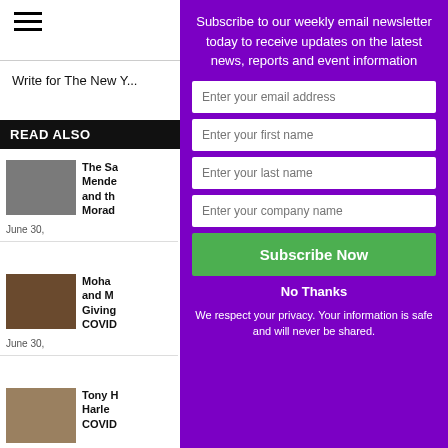≡
Write for The New Y...
READ ALSO
The Sa... Mende... and th... Morad... June 30,...
Moha... and M... Giving... COVID... June 30,...
Tony H... Harle... COVID...
Subscribe to our weekly email newsletter today to receive updates on the latest news, reports and event information
Enter your email address
Enter your first name
Enter your last name
Enter your company name
Subscribe Now
No Thanks
We respect your privacy. Your information is safe and will never be shared.